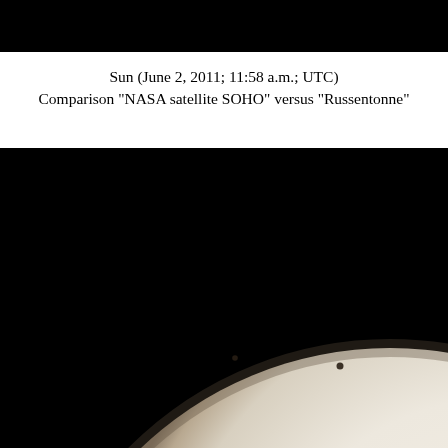[Figure (other): Black bar at the top of the page]
Sun (June 2, 2011; 11:58 a.m.; UTC)
Comparison "NASA satellite SOHO" versus "Russentonne"
[Figure (photo): Telescopic photograph of the Sun taken on June 2, 2011 at 11:58 a.m. UTC. The image shows the upper-right quadrant of the solar disk against a black background. The Sun appears as a large pale white/cream-colored sphere with two small dark sunspots visible on its surface. The image is a close-up ground-based observation used for comparison with NASA satellite SOHO imagery.]